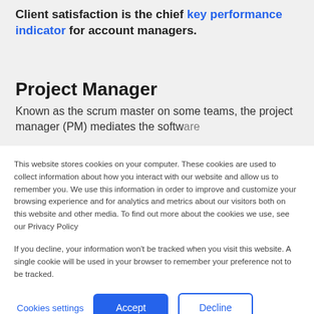Client satisfaction is the chief key performance indicator for account managers.
Project Manager
Known as the scrum master on some teams, the project manager (PM) mediates the software
This website stores cookies on your computer. These cookies are used to collect information about how you interact with our website and allow us to remember you. We use this information in order to improve and customize your browsing experience and for analytics and metrics about our visitors both on this website and other media. To find out more about the cookies we use, see our Privacy Policy
If you decline, your information won't be tracked when you visit this website. A single cookie will be used in your browser to remember your preference not to be tracked.